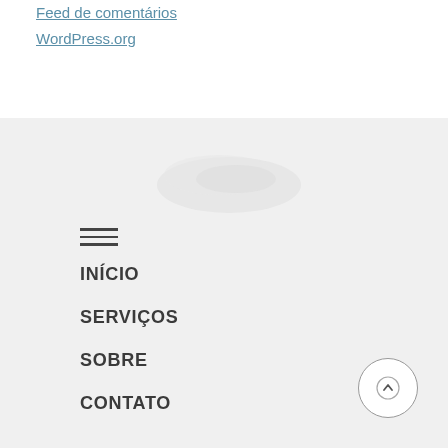Feed de comentários
WordPress.org
[Figure (illustration): Light gray background section with a faint watermark or logo shape in the center]
INÍCIO
SERVIÇOS
SOBRE
CONTATO